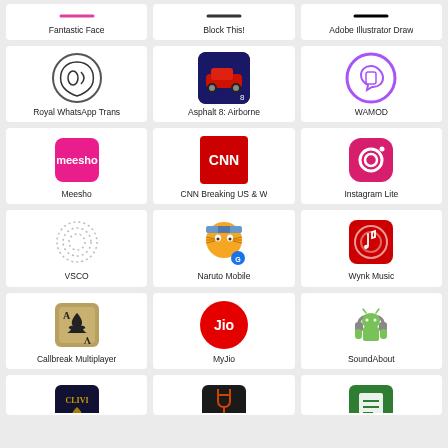[Figure (other): App grid showing mobile applications: Fantastic Face, Block This!, Adobe Illustrator Draw, Royal WhatsApp Trans, Asphalt 8 Airborne, WAMOD, Meesho, CNN Breaking US & W, Instagram Lite, VSCO, Naruto Mobile, Wynk Music, Callbreak Multiplayer, MyJio, SoundAbout, and three more partially visible]
Fantastic Face
Block This!
Adobe Illustrator Draw
Royal WhatsApp Trans
Asphalt 8: Airborne
WAMOD
Meesho
CNN Breaking US & W
Instagram Lite
VSCO
Naruto Mobile
Wynk Music
Callbreak Multiplayer
MyJio
SoundAbout